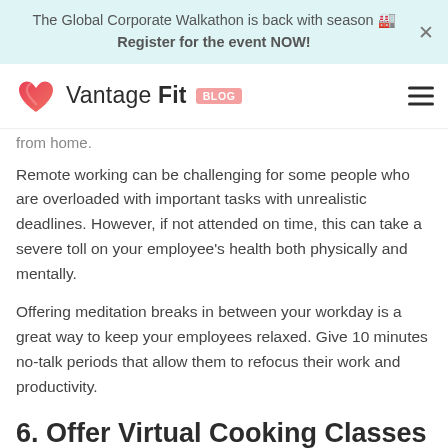The Global Corporate Walkathon is back with season 🏅 Register for the event NOW!
[Figure (logo): Vantage Fit Blog logo with red/pink heart icon]
from home.
Remote working can be challenging for some people who are overloaded with important tasks with unrealistic deadlines. However, if not attended on time, this can take a severe toll on your employee's health both physically and mentally.
Offering meditation breaks in between your workday is a great way to keep your employees relaxed. Give 10 minutes no-talk periods that allow them to refocus their work and productivity.
6. Offer Virtual Cooking Classes